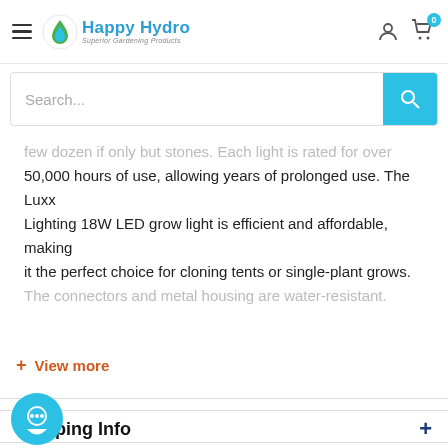Happy Hydro - Superior Gardening Products
Search...
few dozen if only but stones. Each light is rated for over 50,000 hours of use, allowing years of prolonged use. The Luxx Lighting 18W LED grow light is efficient and affordable, making it the perfect choice for cloning tents or single-plant grows. The connectors and metal housing are water-resistant.
+ View more
Shipping Info